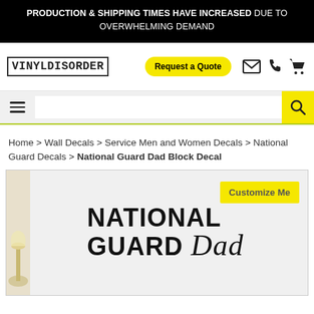PRODUCTION & SHIPPING TIMES HAVE INCREASED DUE TO OVERWHELMING DEMAND
[Figure (logo): VinylDisorder logo in courier-style block font]
Request a Quote
[Figure (screenshot): Search bar with hamburger menu and yellow search button]
Home > Wall Decals > Service Men and Women Decals > National Guard Decals > National Guard Dad Block Decal
[Figure (photo): Product image of National Guard Dad block decal on wall with text NATIONAL GUARD Dad; Customize Me badge in yellow]